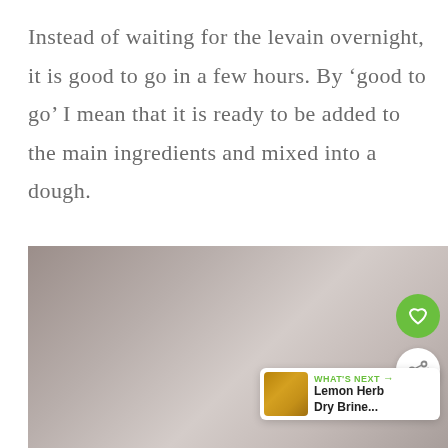Instead of waiting for the levain overnight, it is good to go in a few hours. By ‘good to go’ I mean that it is ready to be added to the main ingredients and mixed into a dough.
[Figure (photo): A blurred/out-of-focus photograph showing a grayish-beige blurred background, likely showing bread dough or a baking surface. Overlaid UI elements include a green heart/like button, a white share button, and a 'What's Next' card showing 'Lemon Herb Dry Brine...'.]